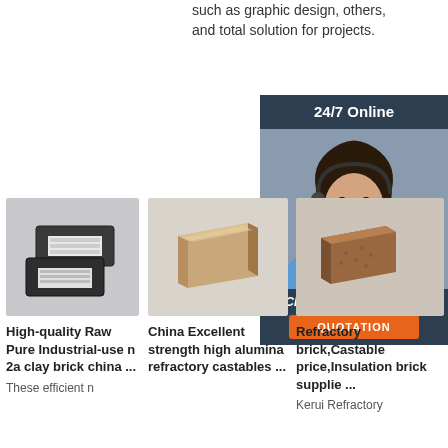such as graphic design, others, and total solution for projects.
[Figure (other): Orange 'Get Price' button]
[Figure (other): 24/7 Online customer support chat widget with photo of woman with headset, 'Click here for free chat!' text, and orange QUOTATION button]
[Figure (photo): Product image: two dark clay bricks]
High-quality Raw Pure Industrial-use n 2a clay brick china ...
These efficient n
[Figure (photo): Product image: tan/beige alumina refractory castable brick]
China Excellent strength high alumina refractory castables ...
[Figure (photo): Product image: brown refractory brick]
Refractory brick,Castable price,Insulation brick supplie ...
Kerui Refractory